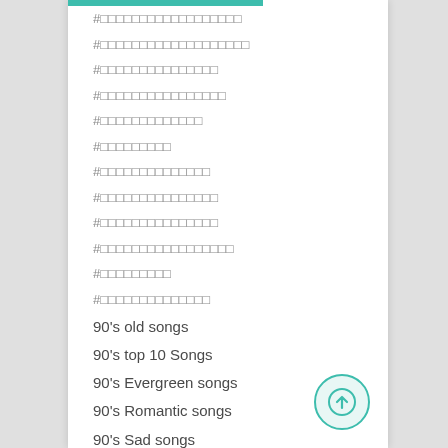#                  
#                   
#               
#                
#             
#         
#              
#               
#               
#                 
#         
#              
90’s old songs
90’s top 10 Songs
90’s Evergreen songs
90’s Romantic songs
90’s Sad songs
90’s Superhit Songs
90’s Most popular song
90’s Special song
90’s                
90’s ke sadababar gaane